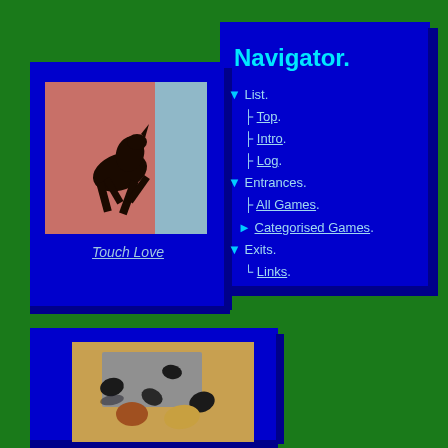Navigator.
▼ List.
├ Top.
├ Intro.
├ Log.
▼ Entrances.
├ All Games.
► Categorised Games.
▼ Exits.
└ Links.
Touch Love
[Figure (photo): Small image of a leaping black dog/animal silhouette against a pink and light blue background]
[Figure (photo): Photo of eggs and stones on a surface, bottom panel]